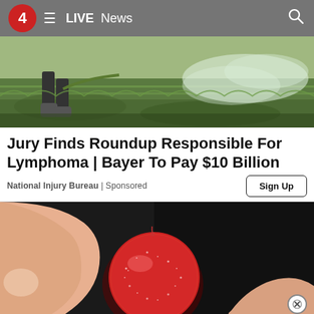4 ≡ LIVE News 🔍
[Figure (photo): Person spraying pesticide or herbicide in a flooded/muddy field, wearing rubber boots, spray mist visible]
Jury Finds Roundup Responsible For Lymphoma | Bayer To Pay $10 Billion
National Injury Bureau | Sponsored
[Figure (photo): Close-up of fingers holding a red sugar-coated gummy candy against a dark background]